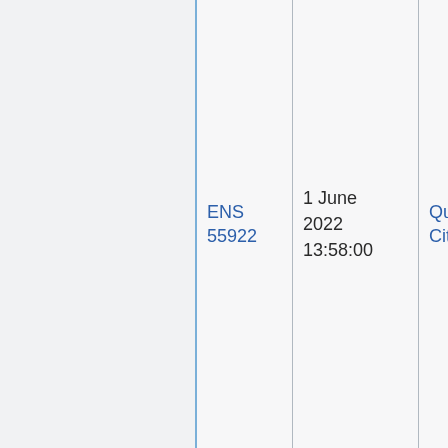|  | ENS 55922 | 1 June 2022 13:58:00 | Quad Cities | NRC Region 3 |